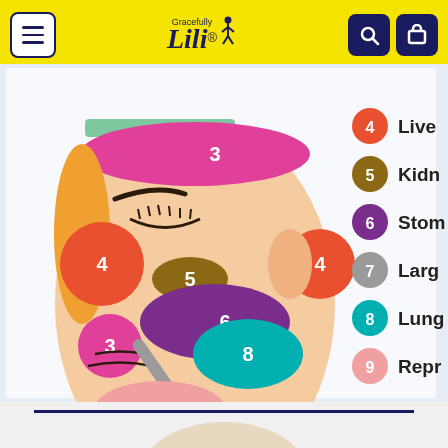Gracefully Lili website navigation bar
[Figure (infographic): Face mapping diagram showing colored zones on a face corresponding to different organs. Numbered regions: 3 (pink/magenta - forehead), 4 (orange-red - left cheek area and right cheek area), 5 (brown - nose/eye area), 6 (purple - cheek/nose area), 7 (gray - chin area), 8 (teal - lower cheek), 9 (pink - chin/jaw). Legend on right side: 4 Liver, 5 Kidn(eys), 6 Stom(ach), 7 Larg(e intestine), 8 Lung(s), 9 Repr(oductive)]
[Figure (photo): Partial view of another face/head image at the bottom of the page, cropped]